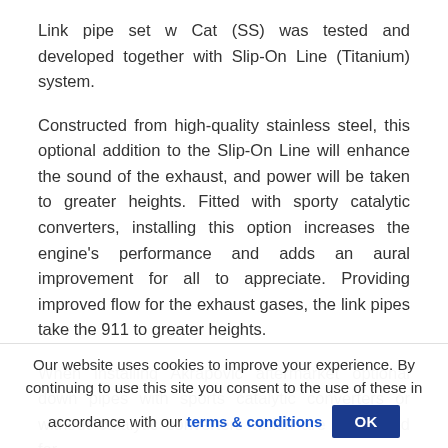Link pipe set w Cat (SS) was tested and developed together with Slip-On Line (Titanium) system.
Constructed from high-quality stainless steel, this optional addition to the Slip-On Line will enhance the sound of the exhaust, and power will be taken to greater heights. Fitted with sporty catalytic converters, installing this option increases the engine's performance and adds an aural improvement for all to appreciate. Providing improved flow for the exhaust gases, the link pipes take the 911 to greater heights.
When installing Akrapovic aftermarket optional down pipes with sports catalytic converters or without catalytic converters which are developed for
Our website uses cookies to improve your experience. By continuing to use this site you consent to the use of these in accordance with our terms & conditions